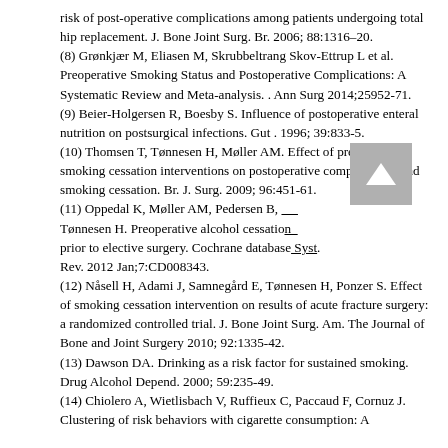risk of post-operative complications among patients undergoing total hip replacement. J. Bone Joint Surg. Br. 2006; 88:1316–20.
(8) Grønkjær M, Eliasen M, Skrubbeltrang Skov-Ettrup L et al. Preoperative Smoking Status and Postoperative Complications: A Systematic Review and Meta-analysis. . Ann Surg 2014;25952-71. (9) Beier-Holgersen R, Boesby S. Influence of postoperative enteral nutrition on postsurgical infections. Gut . 1996; 39:833-5.
(10) Thomsen T, Tønnesen H, Møller AM. Effect of preoperative smoking cessation interventions on postoperative complications and smoking cessation. Br. J. Surg. 2009; 96:451-61.
(11) Oppedal K, Møller AM, Pedersen B, Tønnesen H. Preoperative alcohol cessation prior to elective surgery. Cochrane database Syst. Rev. 2012 Jan;7:CD008343.
(12) Nåsell H, Adami J, Samnegård E, Tønnesen H, Ponzer S. Effect of smoking cessation intervention on results of acute fracture surgery: a randomized controlled trial. J. Bone Joint Surg. Am. The Journal of Bone and Joint Surgery 2010; 92:1335-42.
(13) Dawson DA. Drinking as a risk factor for sustained smoking. Drug Alcohol Depend. 2000; 59:235-49.
(14) Chiolero A, Wietlisbach V, Ruffieux C, Paccaud F, Cornuz J. Clustering of risk behaviors with cigarette consumption: A